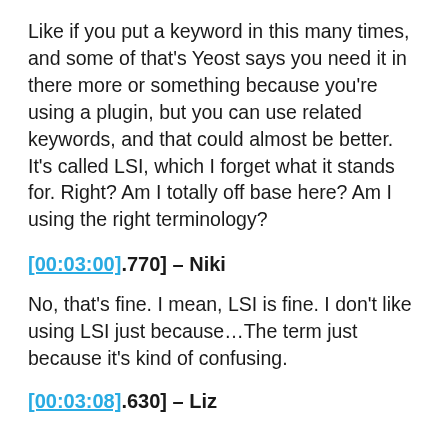Like if you put a keyword in this many times, and some of that's Yeost says you need it in there more or something because you're using a plugin, but you can use related keywords, and that could almost be better. It's called LSI, which I forget what it stands for. Right? Am I totally off base here? Am I using the right terminology?
[00:03:00].770] – Niki
No, that's fine. I mean, LSI is fine. I don't like using LSI just because…The term just because it's kind of confusing.
[00:03:08].630] – Liz